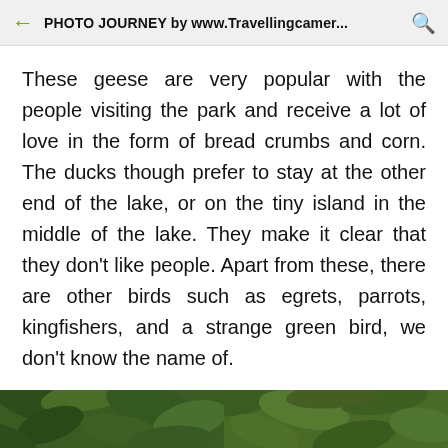PHOTO JOURNEY by www.Travellingcamer...
These geese are very popular with the people visiting the park and receive a lot of love in the form of bread crumbs and corn. The ducks though prefer to stay at the other end of the lake, or on the tiny island in the middle of the lake. They make it clear that they don't like people. Apart from these, there are other birds such as egrets, parrots, kingfishers, and a strange green bird, we don't know the name of.
[Figure (photo): Two partial photos of trees/foliage visible at the bottom of the page, cropped]